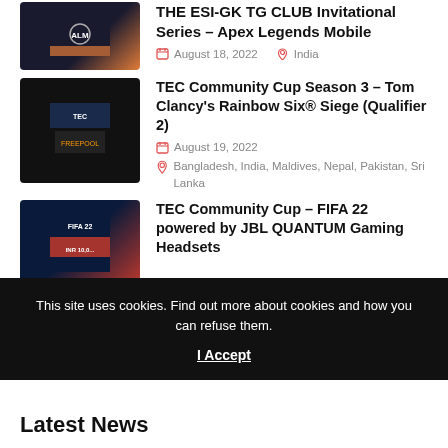[Figure (photo): Thumbnail image for Apex Legends Mobile invitational event]
THE ESI-GK TG CLUB Invitational Series – Apex Legends Mobile
August 18, 2022  India
[Figure (photo): Thumbnail image for TEC Community Cup Season 3 Rainbow Six Siege Qualifier 2]
TEC Community Cup Season 3 – Tom Clancy's Rainbow Six® Siege (Qualifier 2)
August 19, 2022
Bangladesh, India, Maldives, Nepal, Pakistan, Sri Lanka
[Figure (photo): Thumbnail image for TEC Community Cup FIFA 22 powered by JBL QUANTUM Gaming Headsets]
TEC Community Cup – FIFA 22 powered by JBL QUANTUM Gaming Headsets
This site uses cookies. Find out more about cookies and how you can refuse them. I Accept
Latest News